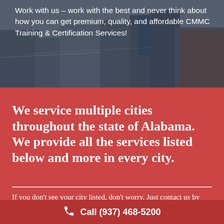[Figure (photo): Aerial/street view photo of urban buildings with dark overlay, showing rooftops and structures in a city setting]
Work with us – work with the best and never think about how you can get premium, quality, and affordable CMMC Training & Certification Services!
We service multiple cities throughout the state of Alabama. We provide all the services listed below and more in every city.
If you don't see your city listed, don't worry. Just contact us by giving us a call or filling out the form, and we'll dive deep to discover what are the best
Call (937) 468-5200